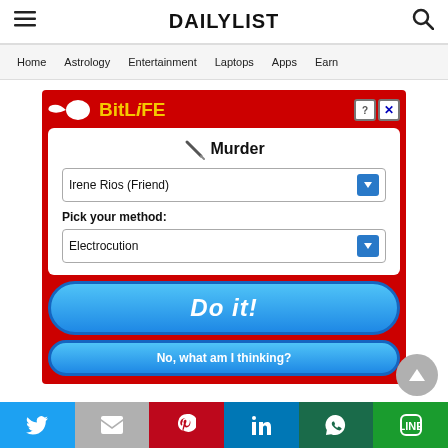DAILYLIST
Home  Astrology  Entertainment  Laptops  Apps  Earn
[Figure (screenshot): BitLife mobile game advertisement showing a 'Murder' screen with a dropdown to select target 'Irene Rios (Friend)', a method dropdown set to 'Electrocution', a blue 'Do it!' button, and a blue 'No, what am I thinking?' button, on a red background.]
[Figure (other): Social media share buttons: Twitter (blue), Gmail (gray), Pinterest (red), LinkedIn (blue), WhatsApp (dark green), Line (green)]